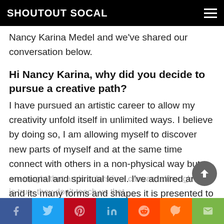SHOUTOUT SOCAL
Nancy Karina Medel and we've shared our conversation below.
Hi Nancy Karina, why did you decide to pursue a creative path?
I have pursued an artistic career to allow my creativity unfold itself in unlimited ways. I believe by doing so, I am allowing myself to discover new parts of myself and at the same time connect with others in a non-physical way but emotional and spiritual level. I've admired art and its many forms and shapes it is presented to us ever since I can remember. We are taught that art is colors in a canvas, although that is true, they don't teach us that